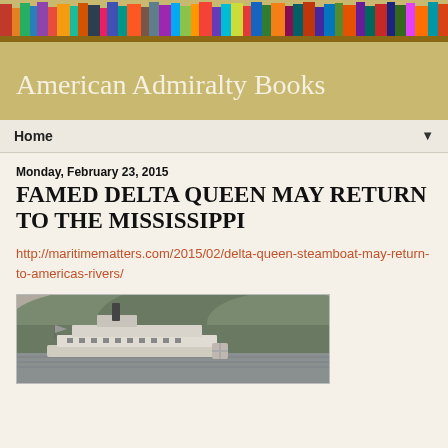[Figure (photo): Header image showing a bookshelf with colorful books]
American Admiralty Books
Home ▼
Monday, February 23, 2015
FAMED DELTA QUEEN MAY RETURN TO THE MISSISSIPPI
http://maritimematters.com/2015/02/delta-queen-steamboat-may-return-to-americas-rivers/
[Figure (photo): Black and white photograph of the Delta Queen steamboat on a river with wooded hills in background]